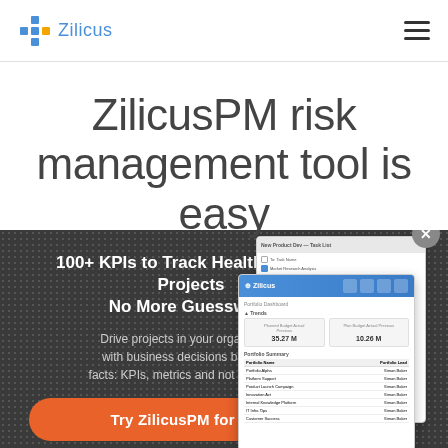Zilicus
ZilicusPM risk management tool is easy
[Figure (screenshot): Dark dotted background banner showing ZilicusPM project management software screenshots with task list and portfolio dashboard overlapping cards]
100+ KPIs to Track Health of Your Projects
No More Guesswork
Drive projects in your organization with business decisions based on facts: KPIs, metrics and not gut feeling
Try ZilicusPM for Free